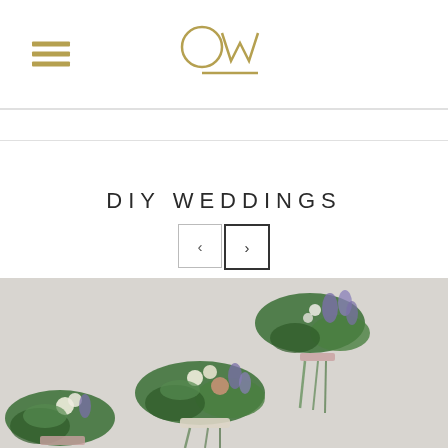OW (logo)
DIY WEDDINGS
[Figure (photo): Three small floral boutonnieres with green foliage, lavender, and white flowers, tied with pink ribbon, laid on a light grey surface.]